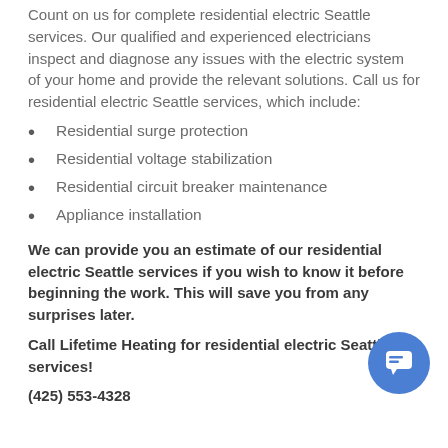Count on us for complete residential electric Seattle services. Our qualified and experienced electricians inspect and diagnose any issues with the electric system of your home and provide the relevant solutions. Call us for residential electric Seattle services, which include:
Residential surge protection
Residential voltage stabilization
Residential circuit breaker maintenance
Appliance installation
We can provide you an estimate of our residential electric Seattle services if you wish to know it before beginning the work. This will save you from any surprises later.
Call Lifetime Heating for residential electric Seattle services!
(425) 553-4328